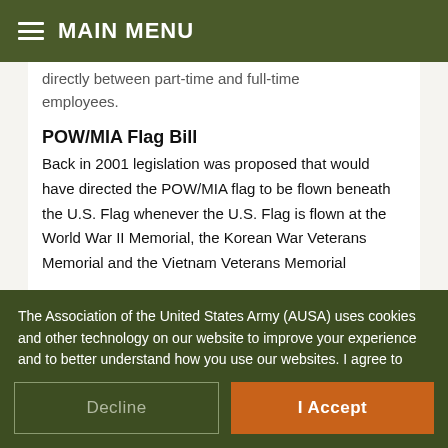MAIN MENU
…directly between part-time and full-time employees.
POW/MIA Flag Bill
Back in 2001 legislation was proposed that would have directed the POW/MIA flag to be flown beneath the U.S. Flag whenever the U.S. Flag is flown at the World War II Memorial, the Korean War Veterans Memorial and the Vietnam Veterans Memorial
The Association of the United States Army (AUSA) uses cookies and other technology on our website to improve your experience and to better understand how you use our websites. I agree to AUSA's use of cookies. Learn More »
Decline
I Accept